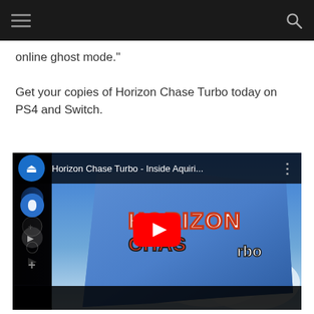online ghost mode."
Get your copies of Horizon Chase Turbo today on PS4 and Switch.
[Figure (screenshot): YouTube video embed showing Horizon Chase Turbo - Inside Aquiri... with PlayStation logo icon and red play button overlay on top of a game art image showing Horizon Chase Turbo branding on fabric/merchandise]